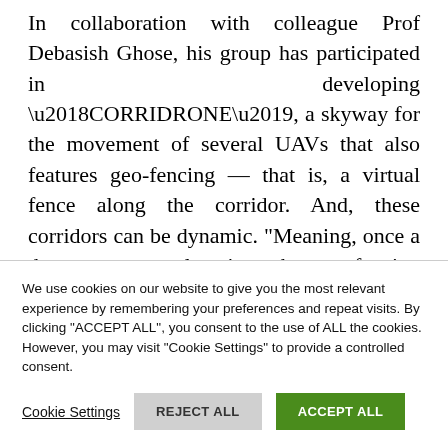In collaboration with colleague Prof Debasish Ghose, his group has participated in developing ‘CORRIDRONE’, a skyway for the movement of several UAVs that also features geo-fencing — that is, a virtual fence along the corridor. And, these corridors can be dynamic. “Meaning, once a drone passes a location, the geo-fencing around that space disappears and another drone can
We use cookies on our website to give you the most relevant experience by remembering your preferences and repeat visits. By clicking "ACCEPT ALL", you consent to the use of ALL the cookies. However, you may visit "Cookie Settings" to provide a controlled consent.